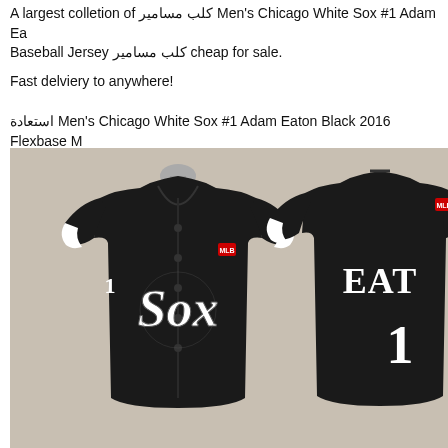A largest colletion of كلب مسامير Men's Chicago White Sox #1 Adam Ea Baseball Jersey كلب مسامير cheap for sale.
Fast delviery to anywhere!
استعادة Men's Chicago White Sox #1 Adam Eaton Black 2016 Flexbase M
[Figure (photo): Two Chicago White Sox #1 Adam Eaton black baseball jerseys displayed on mannequins — front view (left) showing the Sox logo and number 1, back view (right) showing EATON and number 1.]